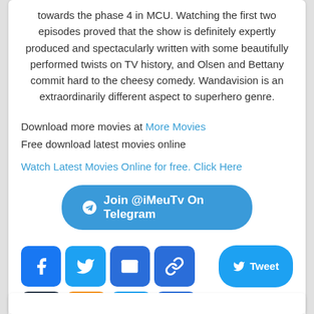towards the phase 4 in MCU. Watching the first two episodes proved that the show is definitely expertly produced and spectacularly written with some beautifully performed twists on TV history, and Olsen and Bettany commit hard to the cheesy comedy. Wandavision is an extraordinarily different aspect to superhero genre.
Download more movies at More Movies
Free download latest movies online
Watch Latest Movies Online for free. Click Here
[Figure (other): Telegram button: Join @iMeuTv On Telegram]
[Figure (other): Social sharing icons: Facebook, Twitter, Email, Link, Tumblr, Blogger, Messenger, Plus, and a Tweet button]